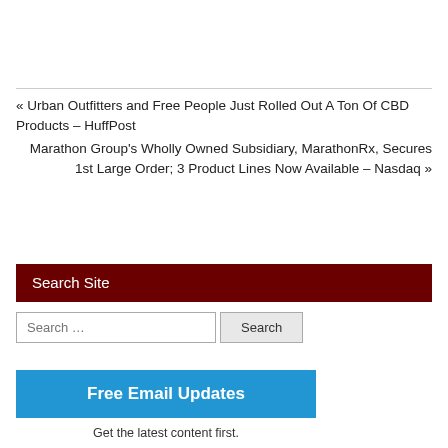« Urban Outfitters and Free People Just Rolled Out A Ton Of CBD Products – HuffPost
Marathon Group's Wholly Owned Subsidiary, MarathonRx, Secures 1st Large Order; 3 Product Lines Now Available – Nasdaq »
Search Site
Search …
Free Email Updates
Get the latest content first.